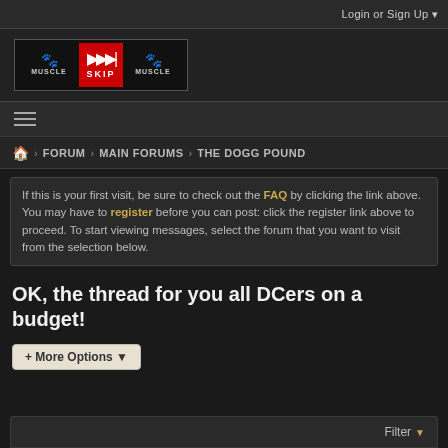Login or Sign Up ▼
[Figure (logo): Muscle Skip Muscle logo with red center skip button and muscular figures on each side]
[Figure (other): Hamburger menu icon (three horizontal lines)]
> FORUM > MAIN FORUMS > THE DOGG POUND
If this is your first visit, be sure to check out the FAQ by clicking the link above. You may have to register before you can post: click the register link above to proceed. To start viewing messages, select the forum that you want to visit from the selection below.
OK, the thread for you all DCers on a budget!
+ More Options ▼
Filter ▼